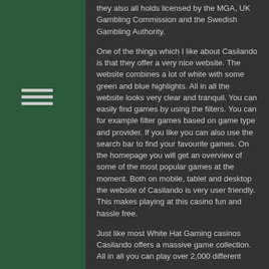they also all holds licensed by the MGA, UK Gambling Commission and the Swedish Gambling Authority.
[Figure (other): Hamburger menu icon with three horizontal lines]
One of the things which I like about Casilando is that they offer a very nice website. The website combines a lot of white with some green and blue highlights. All in all the website looks very clear and tranquil. You can easily find games by using the filters. You can for example filter games based on game type and provider. If you like you can also use the search bar to find your favourite games. On the homepage you will get an overview of some of the most popular games at the moment. Both on mobile, tablet and desktop the website of Casilando is very user friendly. This makes playing at this casino fun and hassle free.
Just like most White Hat Gaming casinos Casilando offers a massive game collection. All in all you can play over 2,000 different